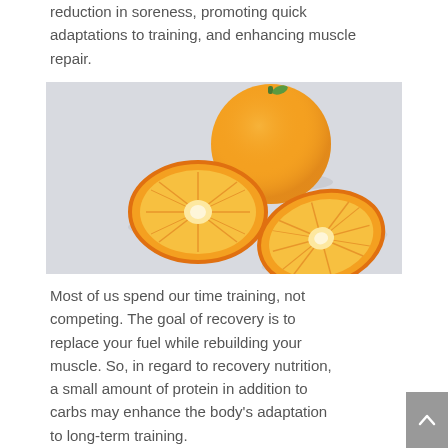reduction in soreness, promoting quick adaptations to training, and enhancing muscle repair.
[Figure (photo): A whole orange and two orange halves cut to show the interior segments, placed on a light grey background.]
Most of us spend our time training, not competing. The goal of recovery is to replace your fuel while rebuilding your muscle. So, in regard to recovery nutrition, a small amount of protein in addition to carbs may enhance the body's adaptation to long-term training.